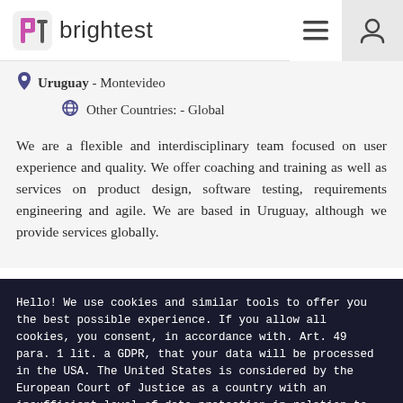brightest
Uruguay - Montevideo
Other Countries: - Global
We are a flexible and interdisciplinary team focused on user experience and quality. We offer coaching and training as well as services on product design, software testing, requirements engineering and agile. We are based in Uruguay, although we provide services globally.
Hello! We use cookies and similar tools to offer you the best possible experience. If you allow all cookies, you consent, in accordance with. Art. 49 para. 1 lit. a GDPR, that your data will be processed in the USA. The United States is considered by the European Court of Justice as a country with an insufficient level of data protection in relation to European standards. In particular, there is a risk that your data may be processed by the US authorities for control and monitoring purposes, possibly even without the possibility of appeal.
Let me choose...
Accept All